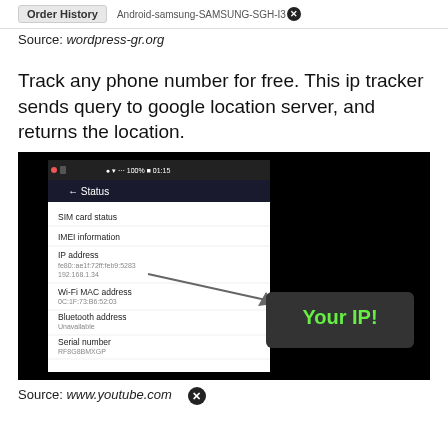[Figure (screenshot): Top navigation bar showing 'Order History' button and text 'Android-samsung-SAMSUNG-SGH-I3' with a close (X) button]
Source: wordpress-gr.org
Track any phone number for free. This ip tracker sends query to google location server, and returns the location.
[Figure (screenshot): Screenshot of an Android phone Status screen showing SIM card status, IMEI information, IP address (192.168.1.34), Wi-Fi MAC address, Bluetooth address (Unavailable), Serial number, Up time, and Device status (Official). A dark speech bubble with green text 'Your IP!' points to the IP address field.]
Source: www.youtube.com